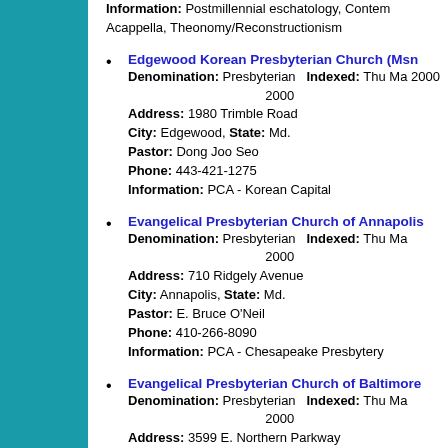Information: Postmillennial eschatology, Contemporary Worship, Acappella, Theonomy/Reconstructionism
Edgewood Korean Presbyterian Church (Msn)
Denomination: Presbyterian   Indexed: Thu Mar 2000
Address: 1980 Trimble Road
City: Edgewood, State: Md.
Pastor: Dong Joo Seo
Phone: 443-421-1275
Information: PCA - Korean Capital
Evangelical Presbyterian Church of Annapolis
Denomination: Presbyterian   Indexed: Thu Mar 2000
Address: 710 Ridgely Avenue
City: Annapolis, State: Md.
Pastor: E. Bruce O'Neil
Phone: 410-266-8090
Information: PCA - Chesapeake Presbytery
Evangelical Presbyterian Church of Baltimore
Denomination: Presbyterian   Indexed: Thu Mar 2000
Address: 3599 E. Northern Parkway
City: Baltimore, State: Md.
Pastor: Phillip N. Hardin   E-mail: epcbalto@aol
Phone: 410-254-7641
Information: PCA - Potomac